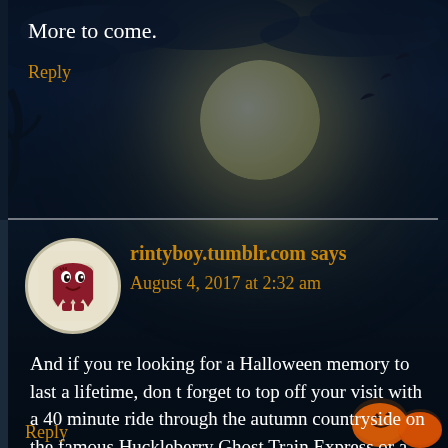More to come.
Reply
rintyboy.tumblr.com says
August 4, 2017 at 2:32 am
And if you re looking for a Halloween memory to last a lifetime, don t forget to top off your visit with a 40 minute ride through the autumn countryside on the famous Huckleberry Ghost Train Express or a cruise around Mott Lake on the Genesee Belle.
Reply